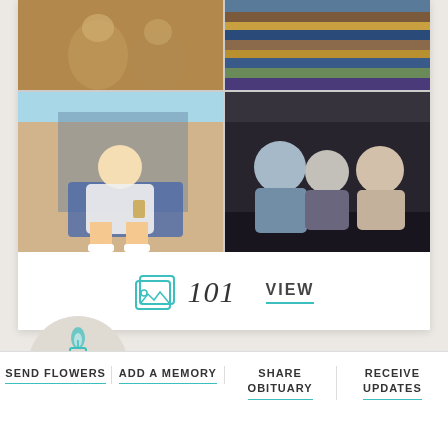[Figure (photo): Photo collage grid with 4 photos: top-left vintage sepia photo of people, top-right colorful striped fabric/blanket, bottom-left man sitting in beach chair holding a drink, bottom-right group of people sitting inside a vehicle]
101
VIEW
Click to light a candle
SEND FLOWERS | ADD A MEMORY | SHARE OBITUARY | RECEIVE UPDATES